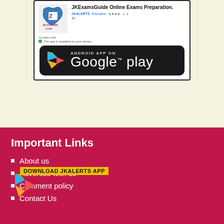[Figure (screenshot): JKExamsGuide app listing on Google Play Store showing the app logo, title 'JKExamsGuide Online Exams Preparation.', JKALERTS Education label, star rating, Contains Ads notice, and a Google Play download banner button.]
Important Links
About us
Advertise with us
Comment policy
Contact Us
[Figure (logo): DOWNLOAD JKALERTS APP badge overlay with Google Play triangle icon]